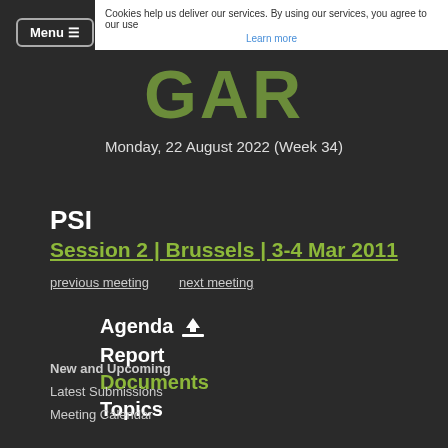[Figure (screenshot): Cookie consent banner: 'Cookies help us deliver our services. By using our services, you agree to our use...' with 'Learn more' link]
[Figure (logo): GAR logo partial letters in olive/dark green]
Monday, 22 August 2022 (Week 34)
PSI
Session 2 | Brussels | 3-4 Mar 2011
previous meeting
next meeting
Agenda
Report
Documents
Topics
New and Upcoming
Latest Submissions
Meeting Calendar